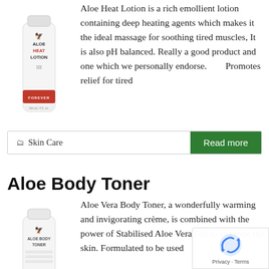[Figure (illustration): Aloe Heat Lotion product bottle - white tube with red band and Forever Living logo]
Aloe Heat Lotion is a rich emollient lotion containing deep heating agents which makes it the ideal massage for soothing tired muscles,  It is also  pH balanced.  Really a good product and one which we personally endorse.        Promotes relief for tired
🗂 Skin Care
Read more
Aloe Body Toner
[Figure (illustration): Aloe Body Toner product bottle - white tube with gold band and Forever Living logo]
Aloe Vera Body Toner, a wonderfully warming and invigorating crème, is combined with the power of Stabilised Aloe Vera Gel to sha tone the skin.  Formulated to be used